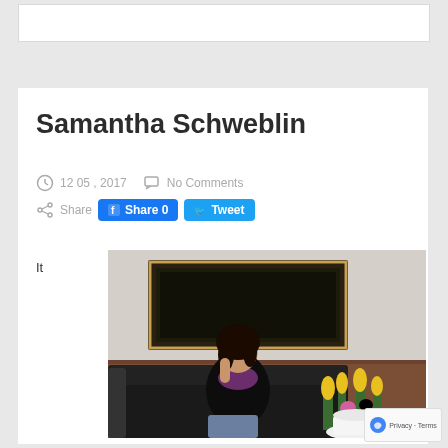Samantha Schweblin
12 05 , 2017   No Comments
Share  Share 0  Tweet
It
[Figure (photo): A woman with dark hair sitting on a black leather sofa, wearing a black top and purple scarf, with yellow and pink tulips in a white vase on a table. A framed dark painting is on the wall behind her.]